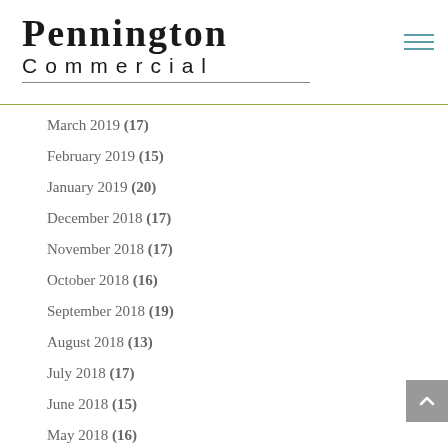[Figure (logo): Pennington Commercial logo with large serif font for PENNINGTON and spaced sans-serif for COMMERCIAL, with horizontal underline]
March 2019 (17)
February 2019 (15)
January 2019 (20)
December 2018 (17)
November 2018 (17)
October 2018 (16)
September 2018 (19)
August 2018 (13)
July 2018 (17)
June 2018 (15)
May 2018 (16)